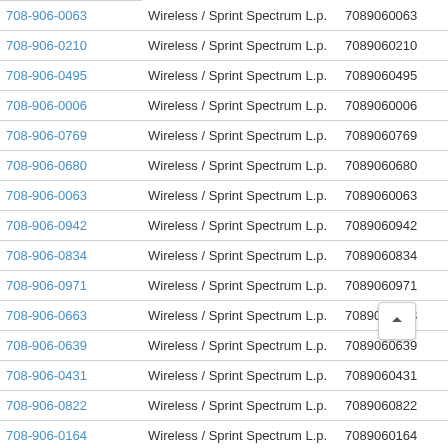| Phone | Carrier | Number |  |
| --- | --- | --- | --- |
| 708-906-0063 (partial top) | Wireless / Sprint Spectrum L.p. | 7089060063 | View |
| 708-906-0210 | Wireless / Sprint Spectrum L.p. | 7089060210 | View |
| 708-906-0495 | Wireless / Sprint Spectrum L.p. | 7089060495 | View |
| 708-906-0006 | Wireless / Sprint Spectrum L.p. | 7089060006 | View |
| 708-906-0769 | Wireless / Sprint Spectrum L.p. | 7089060769 | View |
| 708-906-0680 | Wireless / Sprint Spectrum L.p. | 7089060680 | View |
| 708-906-0063 | Wireless / Sprint Spectrum L.p. | 7089060063 | View |
| 708-906-0942 | Wireless / Sprint Spectrum L.p. | 7089060942 | View |
| 708-906-0834 | Wireless / Sprint Spectrum L.p. | 7089060834 | View |
| 708-906-0971 | Wireless / Sprint Spectrum L.p. | 7089060971 | View |
| 708-906-0663 | Wireless / Sprint Spectrum L.p. | 7089060663 | View |
| 708-906-0639 | Wireless / Sprint Spectrum L.p. | 7089060639 | View |
| 708-906-0431 | Wireless / Sprint Spectrum L.p. | 7089060431 | View |
| 708-906-0822 | Wireless / Sprint Spectrum L.p. | 7089060822 | View |
| 708-906-0164 | Wireless / Sprint Spectrum L.p. | 7089060164 | View |
| 708-906-0519 | Wireless / Sprint Spectrum L.p. | 7089060519 | View |
| 708-906-0217 | Wireless / Sprint Spectrum L.p. | 7089060217 | View |
| 708-906-0592 | Wireless / Sprint Spectrum L.p. | 7089060592 | View |
| 708-906-0944 | Wireless / Sprint Spectrum L.p. | 7089060944 | View |